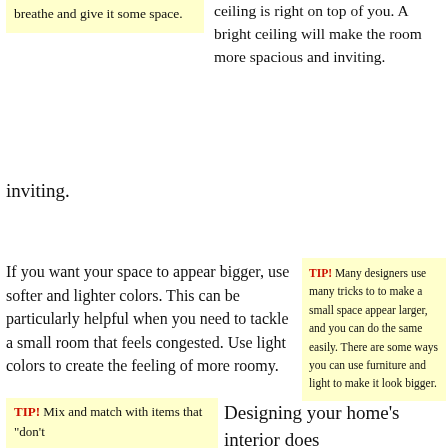breathe and give it some space.
ceiling is right on top of you. A bright ceiling will make the room more spacious and inviting.
If you want your space to appear bigger, use softer and lighter colors. This can be particularly helpful when you need to tackle a small room that feels congested. Use light colors to create the feeling of more roomy.
TIP! Many designers use many tricks to to make a small space appear larger, and you can do the same easily. There are some ways you can use furniture and light to make it look bigger.
TIP! Mix and match with items that “don’t
Designing your home’s interior does